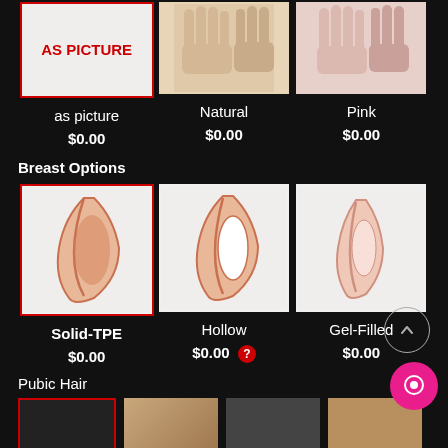[Figure (photo): AS PICTURE selected option box with red border and red bold text]
[Figure (photo): Natural hand color photo - mannequin hands in natural skin tone]
[Figure (photo): Pink hand color photo - mannequin hands in pink tone]
as picture
Natural
Pink
$0.00
$0.00
$0.00
Breast Options
[Figure (illustration): Solid-TPE breast cross-section illustration, selected with red border]
[Figure (illustration): Hollow breast cross-section illustration]
[Figure (illustration): Gel-Filled breast cross-section illustration]
Solid-TPE
Hollow
Gel-Filled
$0.00
$0.00
$0.00
Pubic Hair
[Figure (photo): Pubic hair option thumbnails - four options shown at bottom]